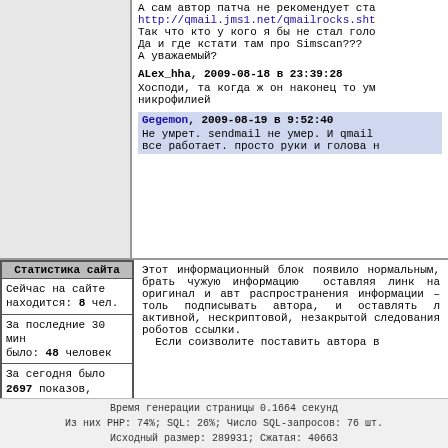А сам автор патча не рекомендует ста
http://qmail.jms1.net/qmailrocks.sht
Так что кто у кого я бы не стал голо
Да и где кстати там про Simscan???
А уважаемый?
ALex_hha, 2009-08-18 в 23:39:28
Хосподи, та когда ж он наконец то ум
никрофилией
Gegemon, 2009-08-19 в 9:52:40
Не умрет. sendmail не умер. И qmail
все работает. просто руки и голова н
| Статистика сайта |
| --- |
| Сейчас на сайте находится: 8 чел. |
| За последние 30 мин было: 48 человек |
| За сегодня было 2697 показов, 349 уникальных IP |
Этот информационный блок появило нормальным, брать чужую информацию оставляя линк на оригинал и авт распространения информации – толь подписывать автора, и оставлять л активной, нескриптовой, незакрытой следования роботов ссылки.
Если соизволите поставить автора в
Время генерации страницы 0.1664 секунд
Из них PHP: 74%; SQL: 26%; Число SQL-запросов: 76 шт.
Исходный размер: 289931; Сжатая: 40663